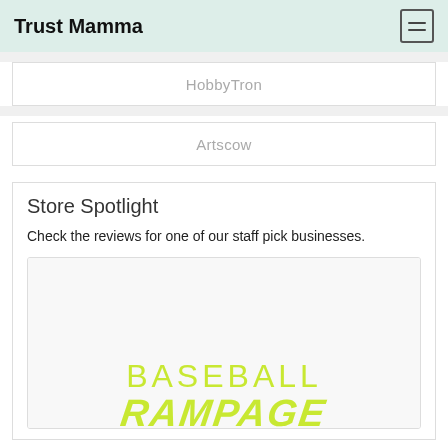Trust Mamma
HobbyTron
Artscow
Store Spotlight
Check the reviews for one of our staff pick businesses.
[Figure (logo): Baseball Rampage logo with 'BASEBALL' in light yellow-green thin letters and 'RAMPAGE' in bold italic yellow-green letters below]